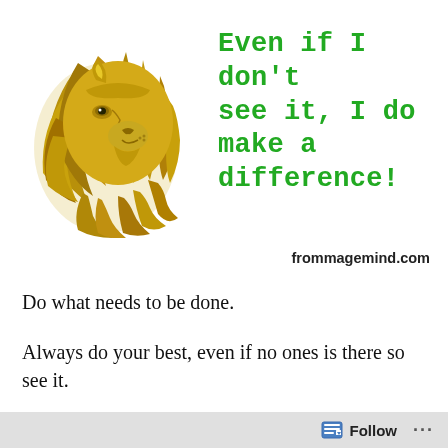[Figure (illustration): Golden lion head illustration, facing right, drawn in outline style with golden/dark yellow color]
Even if I don't see it, I do make a difference!
frommagemind.com
Do what needs to be done.
Always do your best, even if no ones is there so see it.
The…
Follow ...